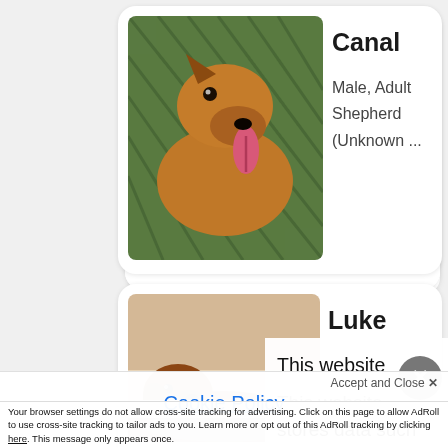[Figure (photo): Brown/tan shepherd dog with tongue out, standing behind chain-link fence]
Canal
Male, Adult
Shepherd (Unknown ...
[Figure (photo): Dog lying down on blue blanket/towel, appears to be resting]
Luke
This website stores data such as cookies to enable necessary site functions, including analytics, targeting and personalization. By remaining on this website you indicate your consent.
[Figure (photo): Partial view of a dog, mostly gray/white, cropped]
Lord Hampton
Cookie Policy
Accept and Close ✕
Your browser settings do not allow cross-site tracking for advertising. Click on this page to allow AdRoll to use cross-site tracking to tailor ads to you. Learn more or opt out of this AdRoll tracking by clicking here. This message only appears once.